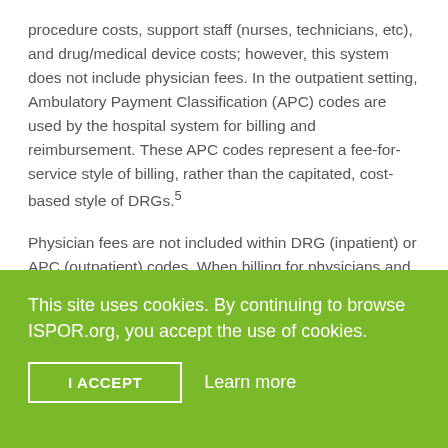procedure costs, support staff (nurses, technicians, etc), and drug/medical device costs; however, this system does not include physician fees. In the outpatient setting, Ambulatory Payment Classification (APC) codes are used by the hospital system for billing and reimbursement. These APC codes represent a fee-for-service style of billing, rather than the capitated, cost-based style of DRGs.5
Physician fees are not included within DRG (inpatient) or APC (outpatient) codes. When billing for physicians and other clinician fees, Current Procedural Terminology (CPT) codes are used and
This site uses cookies. By continuing to browse ISPOR.org, you accept the use of cookies.
I ACCEPT
Learn more